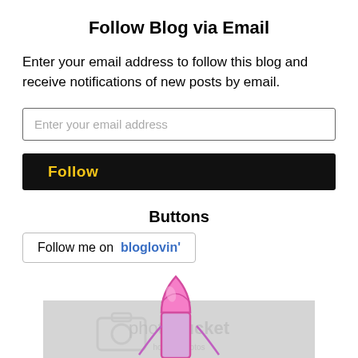Follow Blog via Email
Enter your email address to follow this blog and receive notifications of new posts by email.
[Figure (screenshot): Email input field with placeholder text 'Enter your email address']
[Figure (screenshot): Black Follow button with yellow bold text 'Follow']
Buttons
[Figure (screenshot): Follow me on bloglovin' button with blue text]
[Figure (illustration): Illustration of a pink lipstick above a Photobucket watermark image background]